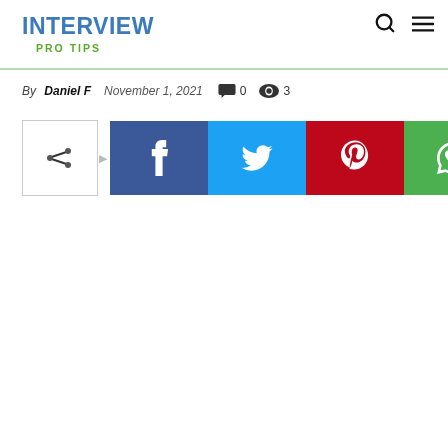INTERVIEW PRO TIPS
By Daniel F  November 1, 2021  0  3
[Figure (screenshot): Social share bar with share toggle button and social media icons for Facebook, Twitter, Pinterest, and WhatsApp]